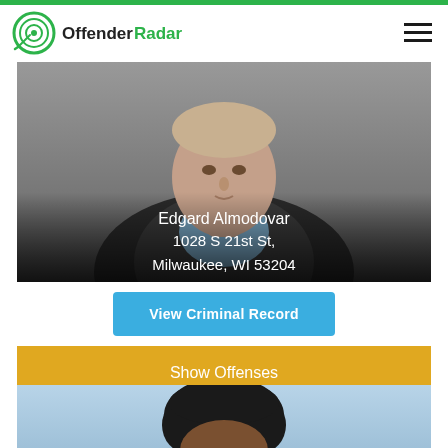OffenderRadar
[Figure (photo): Mugshot photo of Edgard Almodovar, a middle-aged man in a dark jacket with blue shirt collar, gray background]
Edgard Almodovar
1028 S 21st St, Milwaukee, WI 53204
View Criminal Record
Show Offenses
[Figure (photo): Partial mugshot photo of a second individual with dark curly hair, light blue background, cropped at bottom of page]